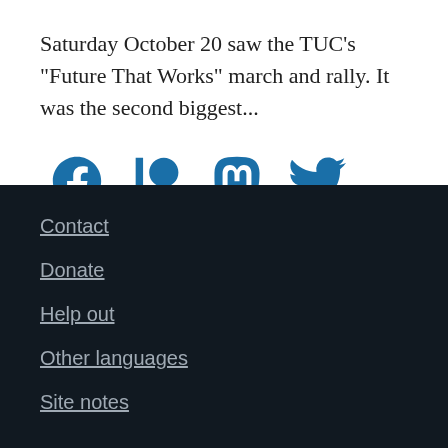Saturday October 20 saw the TUC's "Future That Works" march and rally. It was the second biggest...
[Figure (illustration): Social media icons: Facebook, Patreon, Mastodon, Twitter — all in blue]
Contact
Donate
Help out
Other languages
Site notes